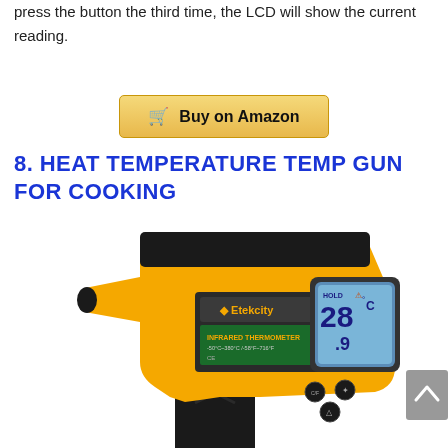short press again, LCD will show the min reading, while short press the button the third time, the LCD will show the current reading.
[Figure (other): Buy on Amazon button with shopping cart icon, golden/yellow background with border]
8. HEAT TEMPERATURE TEMP GUN FOR COOKING
[Figure (photo): Etekcity infrared thermometer temperature gun, yellow and black color, showing 28.9 degrees on LCD display]